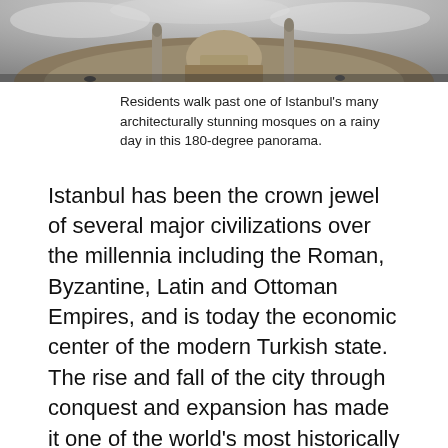[Figure (photo): A 180-degree panoramic photo of an Istanbul mosque on a rainy day, shown in a curved fisheye/tiny planet style with the dome and minarets visible against a grey sky.]
Residents walk past one of Istanbul's many architecturally stunning mosques on a rainy day in this 180-degree panorama.
Istanbul has been the crown jewel of several major civilizations over the millennia including the Roman, Byzantine, Latin and Ottoman Empires, and is today the economic center of the modern Turkish state. The rise and fall of the city through conquest and expansion has made it one of the world's most historically significant metropolitan areas. Influences from the diverse array of cultures that have transited or inhabited the city over the generations are reflected in its cuisine, architecture and even its present-day infrastructure.
Rarely are major development projects completed